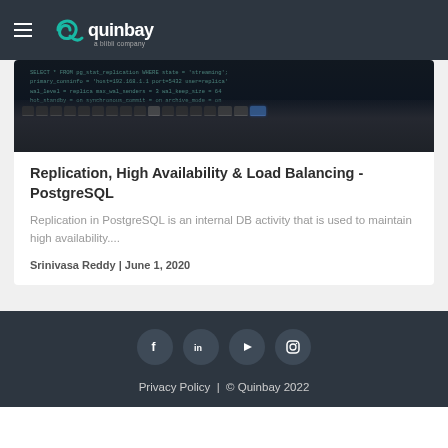quinbay — a blibli company
[Figure (photo): Laptop keyboard with code visible on screen in dark lighting]
Replication, High Availability & Load Balancing - PostgreSQL
Replication in PostgreSQL is an internal DB activity that is used to maintain high availability....
Srinivasa Reddy | June 1, 2020
Privacy Policy | © Quinbay 2022